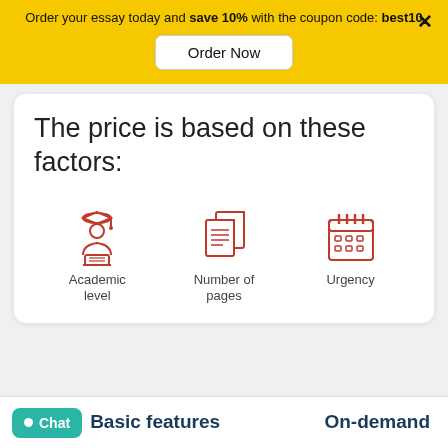Order your essay today and save 10% with the coupon code: best10
Order Now
The price is based on these factors:
[Figure (illustration): Three red icons: Academic level (student with graduation cap at laptop), Number of pages (stacked documents), Urgency (calendar)]
Academic level
Number of pages
Urgency
Chat
Basic features
On-demand